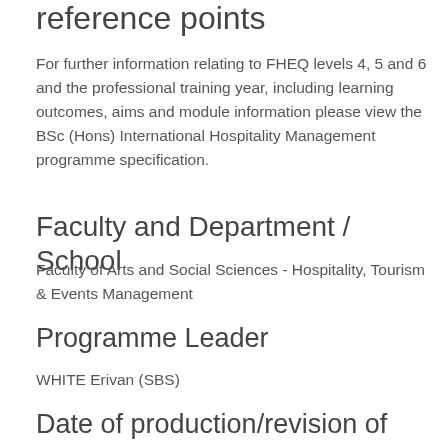reference points
For further information relating to FHEQ levels 4, 5 and 6 and the professional training year, including learning outcomes, aims and module information please view the BSc (Hons) International Hospitality Management programme specification.
Faculty and Department / School
Faculty of Arts and Social Sciences - Hospitality, Tourism & Events Management
Programme Leader
WHITE Erivan (SBS)
Date of production/revision of spec